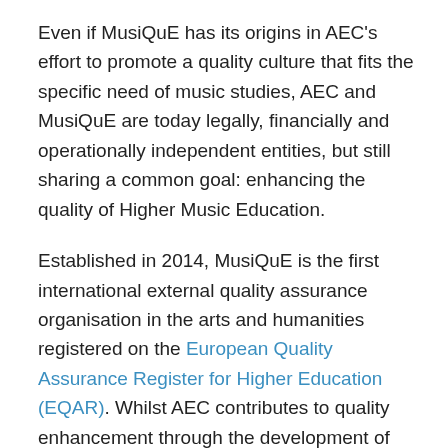Even if MusiQuE has its origins in AEC's effort to promote a quality culture that fits the specific need of music studies, AEC and MusiQuE are today legally, financially and operationally independent entities, but still sharing a common goal: enhancing the quality of Higher Music Education.
Established in 2014, MusiQuE is the first international external quality assurance organisation in the arts and humanities registered on the European Quality Assurance Register for Higher Education (EQAR). Whilst AEC contributes to quality enhancement through the development of expertise and acting as a kind of think-tank for innovation, it is MusiQuE's responsibility to conduct reviews using a set of